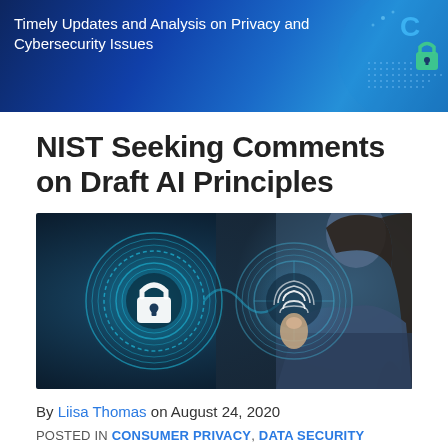Timely Updates and Analysis on Privacy and Cybersecurity Issues
NIST Seeking Comments on Draft AI Principles
[Figure (photo): A person pressing a glowing blue holographic fingerprint scanner button, with a glowing padlock icon on the left, both rendered in blue digital circle motifs against a dark background. A woman in a business suit is partially visible in the background.]
By Liisa Thomas on August 24, 2020
POSTED IN CONSUMER PRIVACY, DATA SECURITY